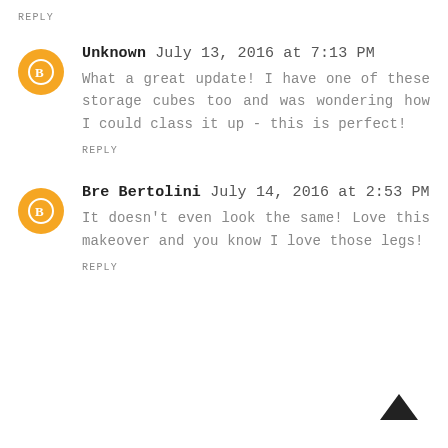REPLY
Unknown July 13, 2016 at 7:13 PM
What a great update! I have one of these storage cubes too and was wondering how I could class it up - this is perfect!
REPLY
Bre Bertolini July 14, 2016 at 2:53 PM
It doesn't even look the same! Love this makeover and you know I love those legs!
REPLY